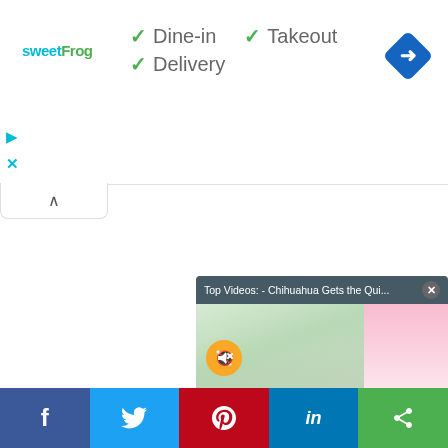[Figure (screenshot): sweetFrog logo in teal and green colors]
✓ Dine-in
✓ Takeout
✓ Delivery
[Figure (logo): Blue diamond shaped Google Maps navigation icon with right-turn arrow]
[Figure (screenshot): Video panel showing 'Top Videos: - Chihuahua Gets the Qui...' with thumbnail of chihuahua quinceañera and dog in pink outfit. Text overlay reads: CHIHUAHUA GETS THE QUINCEANERA OF HER DREAMS]
[Figure (infographic): Social media sharing bar with Facebook, Twitter, Pinterest, LinkedIn, and Share buttons]